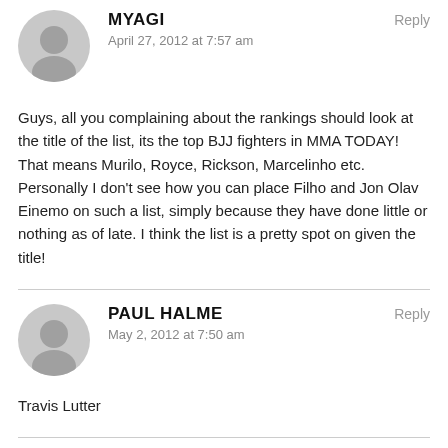MYAGI
April 27, 2012 at 7:57 am
Reply
Guys, all you complaining about the rankings should look at the title of the list, its the top BJJ fighters in MMA TODAY! That means Murilo, Royce, Rickson, Marcelinho etc. Personally I don't see how you can place Filho and Jon Olav Einemo on such a list, simply because they have done little or nothing as of late. I think the list is a pretty spot on given the title!
PAUL HALME
May 2, 2012 at 7:50 am
Reply
Travis Lutter
STEVE LARSEN
May 28, 2012 at 7:34 am
Reply
How the times have changed. A lot of these guys have stepped